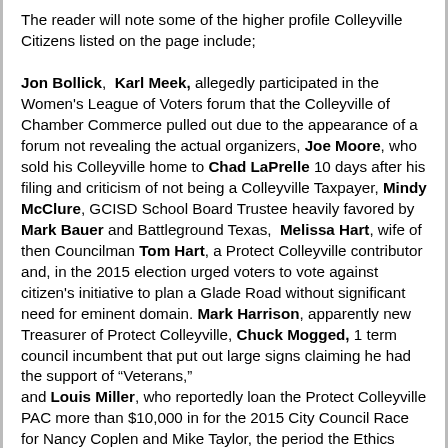The reader will note some of the higher profile Colleyville Citizens listed on the page include; Jon Bollick, Karl Meek, allegedly participated in the Women's League of Voters forum that the Colleyville of Chamber Commerce pulled out due to the appearance of a forum not revealing the actual organizers, Joe Moore, who sold his Colleyville home to Chad LaPrelle 10 days after his filing and criticism of not being a Colleyville Taxpayer, Mindy McClure, GCISD School Board Trustee heavily favored by Mark Bauer and Battleground Texas, Melissa Hart, wife of then Councilman Tom Hart, a Protect Colleyville contributor and, in the 2015 election urged voters to vote against citizen's initiative to plan a Glade Road without significant need for eminent domain. Mark Harrison, apparently new Treasurer of Protect Colleyville, Chuck Mogged, 1 term council incumbent that put out large signs claiming he had the support of “Veterans,” and Louis Miller, who reportedly loan the Protect Colleyville PAC more than $10,000 in for the 2015 City Council Race for Nancy Coplen and Mike Taylor, the period the Ethics Commission is apparently holding an Ethics Hearing complaint on May 17, 2017.